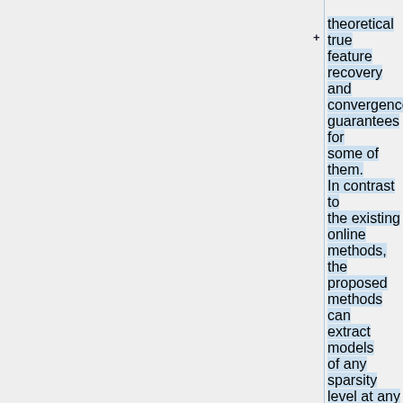+ theoretical true feature recovery and convergence guarantees for some of them. In contrast to the existing online methods, the proposed methods can extract models of any sparsity level at any time. Numerical experiments indicate that our new methods enjoy high accuracy of true feature recovery and a